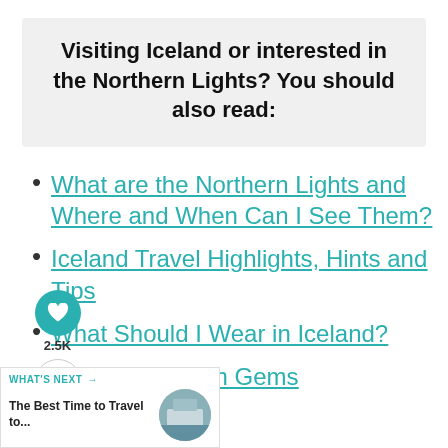Visiting Iceland or interested in the Northern Lights? You should also read:
What are the Northern Lights and Where and When Can I See Them?
Iceland Travel Highlights, Hints and Tips
What Should I Wear in Iceland?
Iceland's Hidden Gems